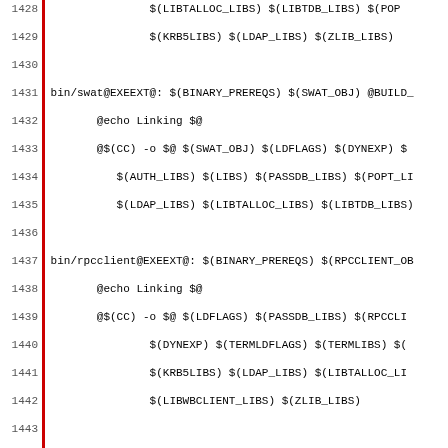Makefile code snippet, lines 1428-1459, showing build targets for bin/swat, bin/rpcclient, bin/smbclient, bin/net, and bin/profiles with their respective dependencies and linker flags.